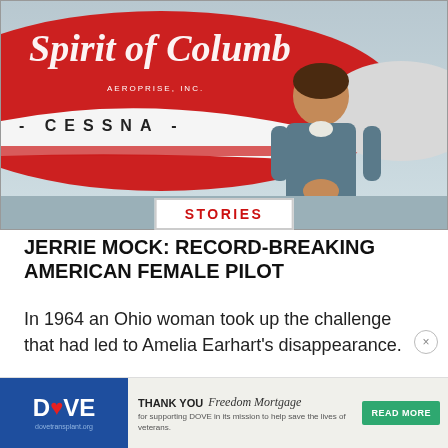[Figure (photo): Woman standing in front of a red and white Cessna airplane with 'Spirit of Columbus, Aeroprise Inc.' written on the side. The photo is in color from the 1960s era.]
STORIES
JERRIE MOCK: RECORD-BREAKING AMERICAN FEMALE PILOT
In 1964 an Ohio woman took up the challenge that had led to Amelia Earhart's disappearance.
[Figure (infographic): DOVE advertisement banner. Logo: DOVE with heart. Text: THANK YOU Freedom Mortgage for supporting DOVE in its mission to help save the lives of veterans. Button: READ MORE. URL: dovetransplant.org]